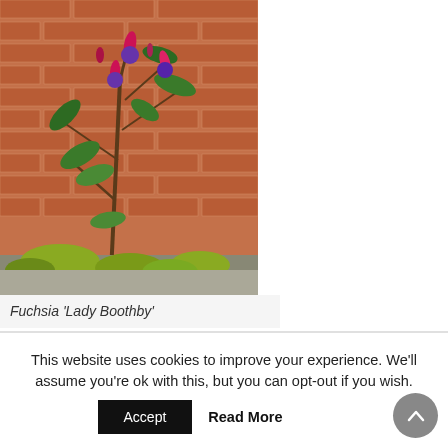[Figure (photo): A fuchsia plant with red and purple flowers growing against a red brick wall, with smaller plants at the base on concrete ground.]
Fuchsia 'Lady Boothby'
This website uses cookies to improve your experience. We'll assume you're ok with this, but you can opt-out if you wish.
Accept  Read More